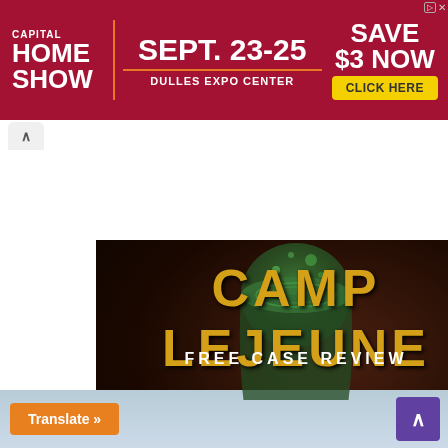[Figure (screenshot): Capital Home Show advertisement banner: red background with white text 'CAPITAL HOME SHOW', large white 'SEPT. 23-25', 'DULLES EXPO CENTER', and 'SAVE $3 NOW / CLICK HERE' button]
[Figure (photo): Camp Lejeune Free Case Review advertisement: dark background with a glass of contaminated green water, large distressed yellow text 'CAMP LEJEUNE', white text 'FREE CASE REVIEW', and body text 'For those who were exposed to the water in Camp Lejeune between 1953 and 1987.']
Were you there? Did you drink the water?
Trulaw
Learn More
[Figure (screenshot): Bottom strip showing sky background with orange 'Translate »' button on left and purple scroll-to-top arrow button on right]